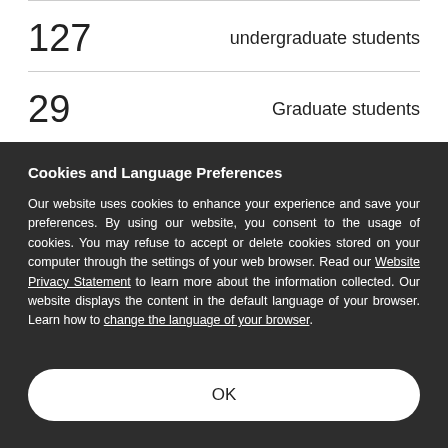127   undergraduate students
29   Graduate students
Cookies and Language Preferences
Our website uses cookies to enhance your experience and save your preferences. By using our website, you consent to the usage of cookies. You may refuse to accept or delete cookies stored on your computer through the settings of your web browser. Read our Website Privacy Statement to learn more about the information collected. Our website displays the content in the default language of your browser. Learn how to change the language of your browser.
OK